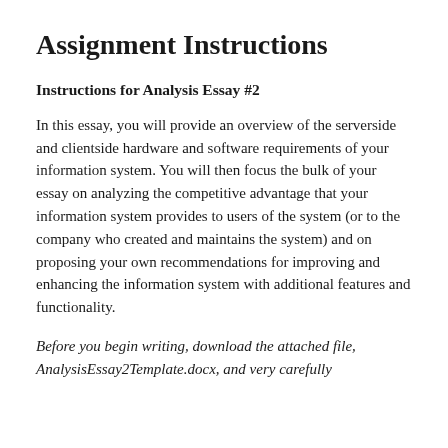Assignment Instructions
Instructions for Analysis Essay #2
In this essay, you will provide an overview of the serverside and clientside hardware and software requirements of your information system. You will then focus the bulk of your essay on analyzing the competitive advantage that your information system provides to users of the system (or to the company who created and maintains the system) and on proposing your own recommendations for improving and enhancing the information system with additional features and functionality.
Before you begin writing, download the attached file, AnalysisEssay2Template.docx, and very carefully